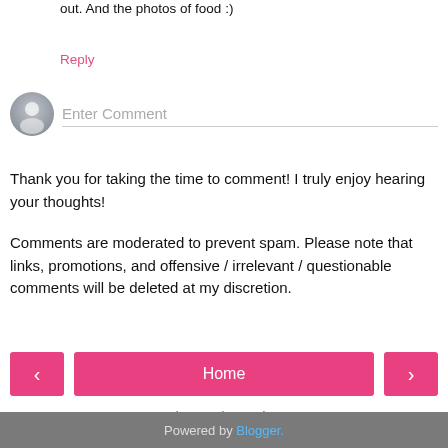out. And the photos of food :)
Reply
[Figure (illustration): Gray placeholder avatar icon (person silhouette) next to an 'Enter Comment' text input field with a bottom border]
Thank you for taking the time to comment! I truly enjoy hearing your thoughts!
Comments are moderated to prevent spam. Please note that links, promotions, and offensive / irrelevant / questionable comments will be deleted at my discretion.
[Figure (infographic): Navigation row with three pink buttons: left arrow, Home (center), right arrow]
View web version
Powered by Blogger.